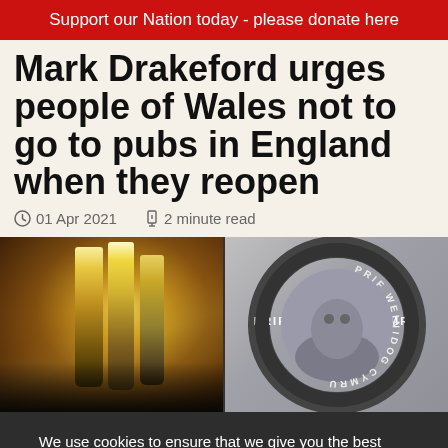Support our Nation today - please donate here
Mark Drakeford urges people of Wales not to go to pubs in England when they reopen
01 Apr 2021   2 minute read
[Figure (photo): Left: close-up of beer tap handles in a pub; Right: Mark Drakeford with Welsh First Minister (Prif Weinidog Cymru) circular badge]
We use cookies to ensure that we give you the best experience on our website. If you are ok with anonymous tracking please click ok